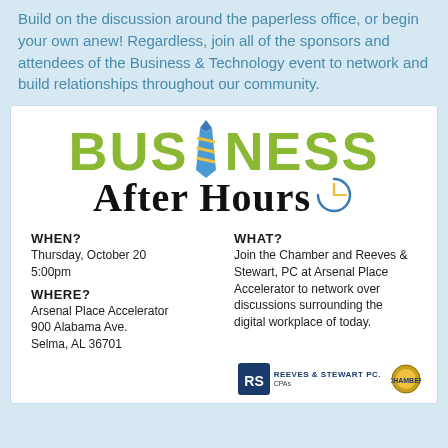Build on the discussion around the paperless office, or begin your own anew! Regardless, join all of the sponsors and attendees of the Business & Technology event to network and build relationships throughout our community.
[Figure (illustration): Business After Hours logo with green bold BUSINESS text, a blue and yellow striped tie replacing the letter I, and 'After Hours' in black cursive script with a clock graphic]
WHEN?
Thursday, October 20
5:00pm
WHERE?
Arsenal Place Accelerator
900 Alabama Ave.
Selma, AL 36701
WHAT?
Join the Chamber and Reeves & Stewart, PC at Arsenal Place Accelerator to network over discussions surrounding the digital workplace of today.
[Figure (logo): Reeves & Stewart PC logo and Chamber logo]